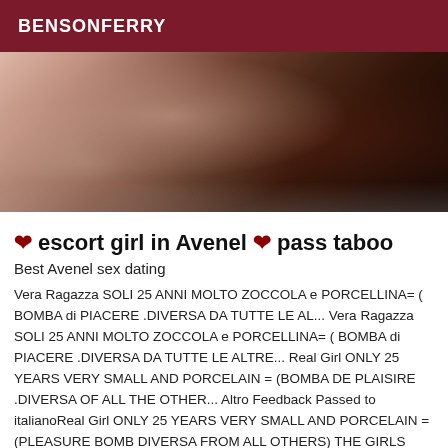BENSONFERRY
[Figure (photo): Two women lying on a bed, one with dark curly hair visible, in a dimly lit scene]
❤ escort girl in Avenel ❤ pass taboo
Best Avenel sex dating
Vera Ragazza SOLI 25 ANNI MOLTO ZOCCOLA e PORCELLINA= ( BOMBA di PIACERE .DIVERSA DA TUTTE LE AL... Vera Ragazza SOLI 25 ANNI MOLTO ZOCCOLA e PORCELLINA= ( BOMBA di PIACERE .DIVERSA DA TUTTE LE ALTRE... Real Girl ONLY 25 YEARS VERY SMALL AND PORCELAIN = (BOMBA DE PLAISIRE .DIVERSA OF ALL THE OTHER... Altro Feedback Passed to italianoReal Girl ONLY 25 YEARS VERY SMALL AND PORCELAIN = (PLEASURE BOMB DIVERSA FROM ALL OTHERS) THE GIRLS YOU